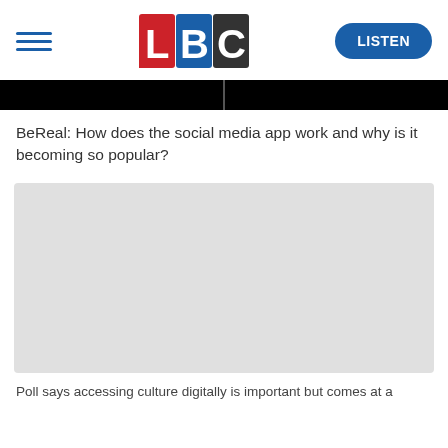LBC — LISTEN
[Figure (screenshot): Black banner bar with divider, resembling a news ticker or navigation band]
BeReal: How does the social media app work and why is it becoming so popular?
[Figure (photo): Gray placeholder image (image not loaded)]
Poll says accessing culture digitally is important but comes at a